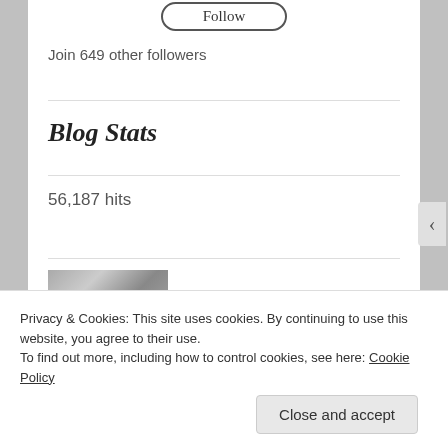[Figure (other): Follow button widget (rounded rectangle button outline)]
Join 649 other followers
Blog Stats
56,187 hits
[Figure (photo): Partial photo showing dark silhouetted figures against a light background]
Privacy & Cookies: This site uses cookies. By continuing to use this website, you agree to their use.
To find out more, including how to control cookies, see here: Cookie Policy
Close and accept